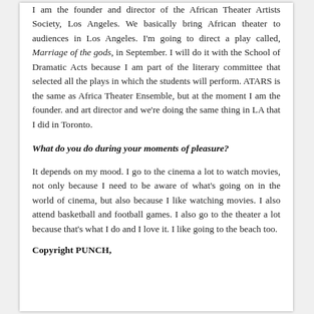I am the founder and director of the African Theater Artists Society, Los Angeles. We basically bring African theater to audiences in Los Angeles. I'm going to direct a play called, Marriage of the gods, in September. I will do it with the School of Dramatic Acts because I am part of the literary committee that selected all the plays in which the students will perform. ATARS is the same as Africa Theater Ensemble, but at the moment I am the founder. and art director and we're doing the same thing in LA that I did in Toronto.
What do you do during your moments of pleasure?
It depends on my mood. I go to the cinema a lot to watch movies, not only because I need to be aware of what's going on in the world of cinema, but also because I like watching movies. I also attend basketball and football games. I also go to the theater a lot because that's what I do and I love it. I like going to the beach too.
Copyright PUNCH,